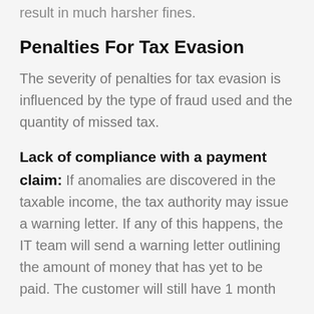result in much harsher fines.
Penalties For Tax Evasion
The severity of penalties for tax evasion is influenced by the type of fraud used and the quantity of missed tax.
Lack of compliance with a payment claim: If anomalies are discovered in the taxable income, the tax authority may issue a warning letter. If any of this happens, the IT team will send a warning letter outlining the amount of money that has yet to be paid. The customer will still have 1 month